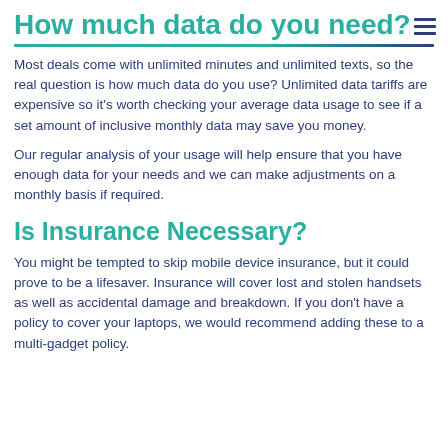How much data do you need?
Most deals come with unlimited minutes and unlimited texts, so the real question is how much data do you use? Unlimited data tariffs are expensive so it's worth checking your average data usage to see if a set amount of inclusive monthly data may save you money.
Our regular analysis of your usage will help ensure that you have enough data for your needs and we can make adjustments on a monthly basis if required.
Is Insurance Necessary?
You might be tempted to skip mobile device insurance, but it could prove to be a lifesaver. Insurance will cover lost and stolen handsets as well as accidental damage and breakdown. If you don't have a policy to cover your laptops, we would recommend adding these to a multi-gadget policy.